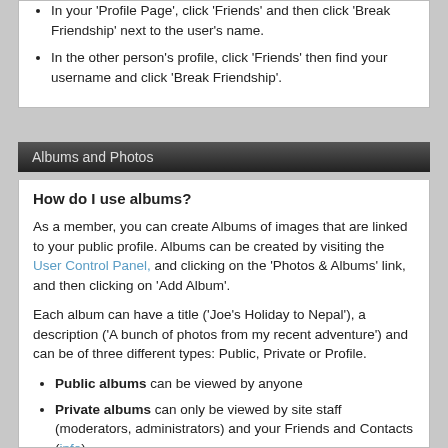In your 'Profile Page', click 'Friends' and then click 'Break Friendship' next to the user's name.
In the other person's profile, click 'Friends' then find your username and click 'Break Friendship'.
Albums and Photos
How do I use albums?
As a member, you can create Albums of images that are linked to your public profile. Albums can be created by visiting the User Control Panel, and clicking on the 'Photos & Albums' link, and then clicking on 'Add Album'.
Each album can have a title ('Joe’s Holiday to Nepal'), a description ('A bunch of photos from my recent adventure') and can be of three different types: Public, Private or Profile.
Public albums can be viewed by anyone
Private albums can only be viewed by site staff (moderators, administrators) and your Friends and Contacts (info)
Profile albums are viewable only by you. However, you can use the images to